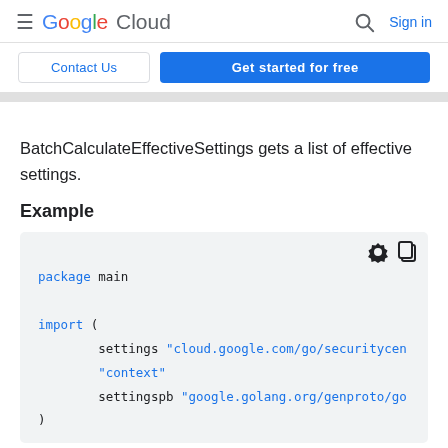Google Cloud   Sign in
Contact Us   Get started for free
BatchCalculateEffectiveSettings gets a list of effective settings.
Example
package main

import (
        settings "cloud.google.com/go/securitycen
        "context"
        settingspb "google.golang.org/genproto/go
)